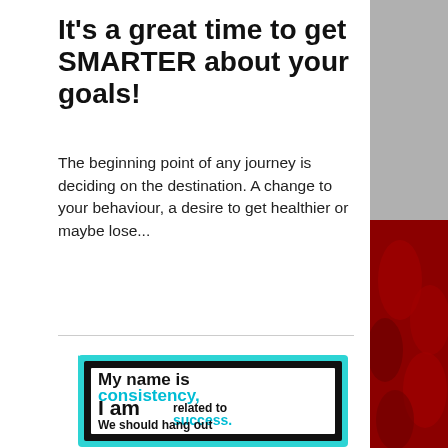It's a great time to get SMARTER about your goals!
The beginning point of any journey is deciding on the destination. A change to your behaviour, a desire to get healthier or maybe lose...
[Figure (illustration): Motivational poster with teal scalloped border and black frame. Text reads: 'My name is consistency, I am related to success. We should hang out']